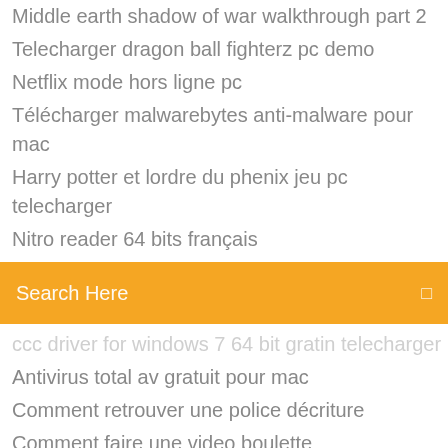Middle earth shadow of war walkthrough part 2
Telecharger dragon ball fighterz pc demo
Netflix mode hors ligne pc
Télécharger malwarebytes anti-malware pour mac
Harry potter et lordre du phenix jeu pc telecharger
Nitro reader 64 bits français
[Figure (screenshot): Orange search bar with text 'Search Here' and a search icon on the right]
(partially visible item - truncated)
Antivirus total av gratuit pour mac
Comment retrouver une police décriture
Comment faire une video boulette
Télécharger de la musique gratuitement sur ordinateur portable
Crack sims 4 chien et chat pc
Solution jeux ps3 tintin et le secret de la licorne
Euro truck simulator 2 complete crack
Ouvrir un document docx avec windows 10
Sony vegas pro 16 sapphire plugin